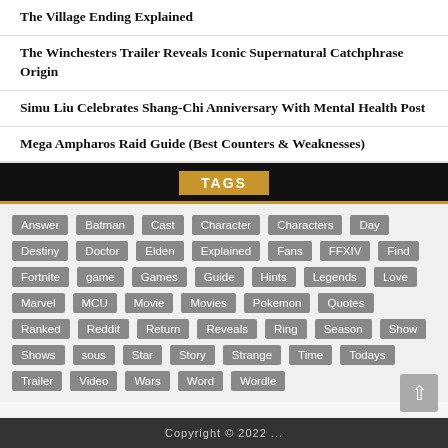The Village Ending Explained
The Winchesters Trailer Reveals Iconic Supernatural Catchphrase Origin
Simu Liu Celebrates Shang-Chi Anniversary With Mental Health Post
Mega Ampharos Raid Guide (Best Counters & Weaknesses)
TAGS
Answer Batman Cast Character Characters Day Destiny Doctor Elden Explained Fans FFXIV Find Fortnite game Games Guide Hints Legends Love Marvel MCU Movie Movies Pokemon Quotes Ranked Reddit Return Reveals Ring Season Show Shows sous Star Story Strange Time Todays Trailer Video Wars Word Wordle
Copyright © 2022 ...